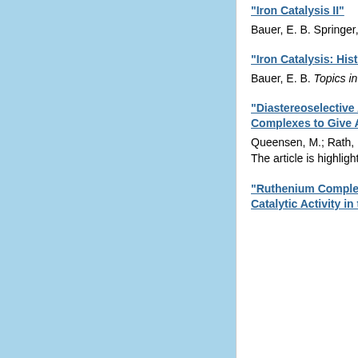"Iron Catalysis II" Bauer, E. B. Springer, Heidelberg, 2015.
"Iron Catalysis: Historic Overview and Current Trends" Bauer, E. B. Topics in Organometallic Chemistry 2015, 50, 1-18.
"Diastereoselective Attack on Chiral-at-Metal Ruthenium Allenylidene Complexes to Give Alkynyl Complexes" Queensen, M.; Rath, N. P.; Bauer, E. B. Organometallics 2014, 5052-5065. The article is highlighted on the cover illustration of the issue, see here.
"Ruthenium Complexes of the General Formula [RuCl2(PHOX)2] and their Catalytic Activity in the Mukaiyama Aldol Reaction"